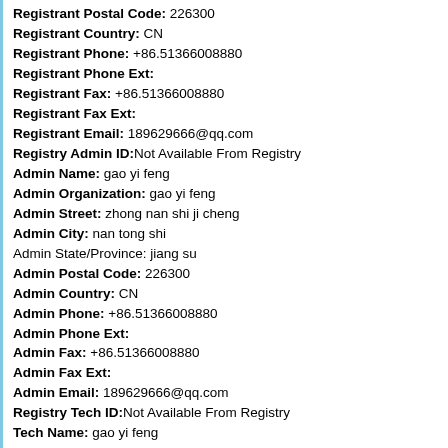Registrant Postal Code: 226300
Registrant Country: CN
Registrant Phone: +86.51366008880
Registrant Phone Ext:
Registrant Fax: +86.51366008880
Registrant Fax Ext:
Registrant Email: 189629666@qq.com
Registry Admin ID:Not Available From Registry
Admin Name: gao yi feng
Admin Organization: gao yi feng
Admin Street: zhong nan shi ji cheng
Admin City: nan tong shi
Admin State/Province: jiang su
Admin Postal Code: 226300
Admin Country: CN
Admin Phone: +86.51366008880
Admin Phone Ext:
Admin Fax: +86.51366008880
Admin Fax Ext:
Admin Email: 189629666@qq.com
Registry Tech ID:Not Available From Registry
Tech Name: gao yi feng
Tech Organization: gao yi feng
Tech Street: zhong nan shi ji cheng
Tech City: nan tong shi
Tech State/Province: jiang su
Tech Postal Code: 226300
Tech Country: CN